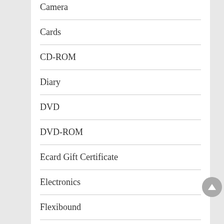Camera
Cards
CD-ROM
Diary
DVD
DVD-ROM
Ecard Gift Certificate
Electronics
Flexibound
Game
Grocery
Hardcover
Health and Beauty